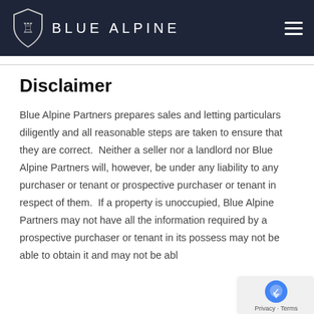BLUE ALPINE
Disclaimer
Blue Alpine Partners prepares sales and letting particulars diligently and all reasonable steps are taken to ensure that they are correct.  Neither a seller nor a landlord nor Blue Alpine Partners will, however, be under any liability to any purchaser or tenant or prospective purchaser or tenant in respect of them.  If a property is unoccupied, Blue Alpine Partners may not have all the information required by a prospective purchaser or tenant in its possession may not be able to obtain it and may not be able